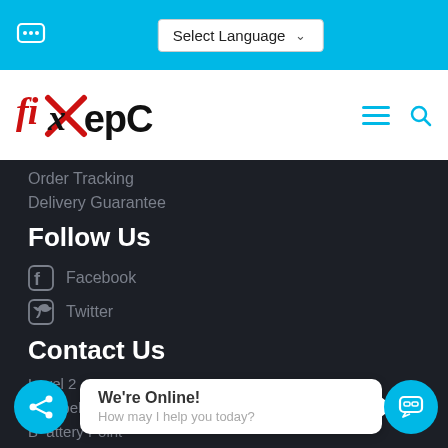[Figure (screenshot): Top navigation bar with chat icon, Select Language dropdown on cyan/blue background]
[Figure (logo): FixHepC logo with red italic fix text and black HepC text, hamburger menu and search icon]
Order Tracking
Delivery Guarantee
Follow Us
Facebook
Twitter
Contact Us
Level 2
Montpelier Retreat
Battery Point
Hobart Tasmania
We're Online!
How may I help you today?